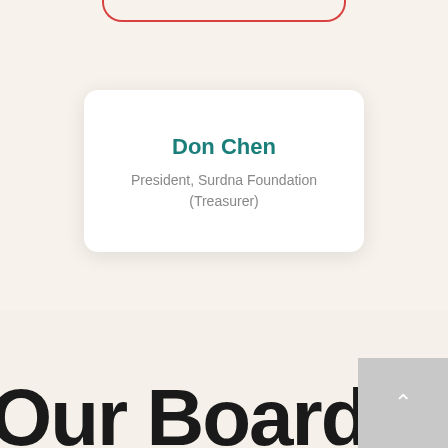[Figure (other): Partial red rounded rectangle button border visible at the top of the page]
Don Chen
President, Surdna Foundation
(Treasurer)
[Figure (other): Back to top button with upward arrow chevron, gray background, bottom right corner]
Our Board Me...